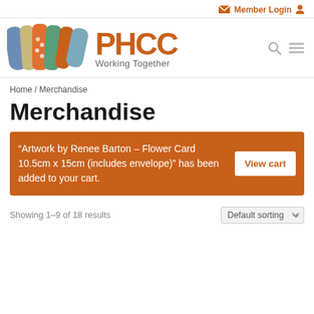Member Login
[Figure (logo): PHCC Working Together logo with colourful fabric/textile artwork and PHCC text]
Home / Merchandise
Merchandise
“Artwork by Renee Barton – Flower Card 10.5cm x 15cm (includes envelope)” has been added to your cart.
View cart
Showing 1–9 of 18 results
Default sorting